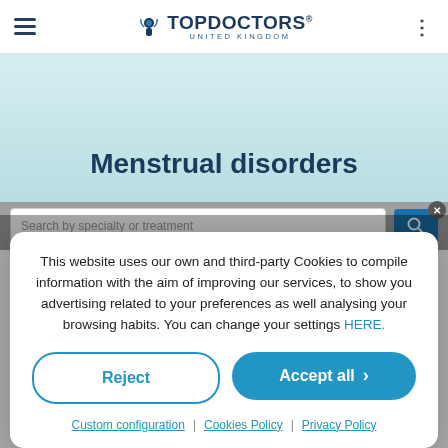Top Doctors United Kingdom
Menstrual disorders
Search by specialty or treatment
This website uses our own and third-party Cookies to compile information with the aim of improving our services, to show you advertising related to your preferences as well analysing your browsing habits. You can change your settings HERE.
Reject
Accept all
Custom configuration | Cookies Policy | Privacy Policy
Disorders of cycle length